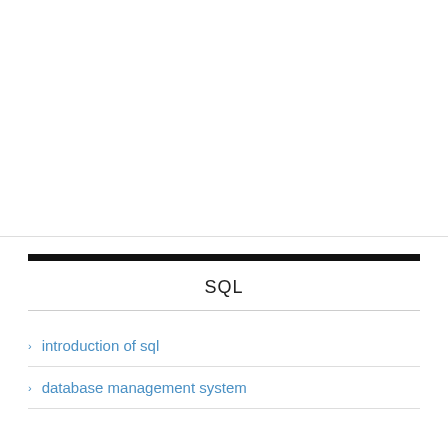SQL
introduction of sql
database management system